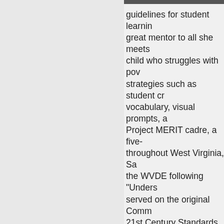[Figure (photo): Partial photo visible at top right corner of page]
guidelines for student learning, great mentor to all she meets, child who struggles with poverty, strategies such as student created vocabulary, visual prompts, and Project MERIT cadre, a five- throughout West Virginia, Sa the WVDE following "Unders served on the original Comm 21st Century Standards. Sa like and is a role model who teachers alike.
Tami Marks was recognized A teacher at Mount Nebo Ele almost every year of her tea a split grade presents, her st ideas to bring to her students leadership roles at her scho courses toward the Element "She keeps you going and m